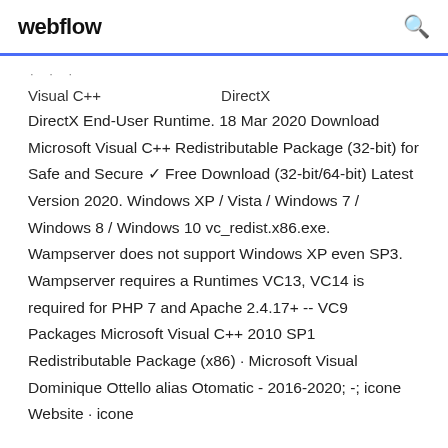webflow
Visual C++    DirectX
DirectX End-User Runtime. 18 Mar 2020 Download Microsoft Visual C++ Redistributable Package (32-bit) for Safe and Secure ✓ Free Download (32-bit/64-bit) Latest Version 2020. Windows XP / Vista / Windows 7 / Windows 8 / Windows 10 vc_redist.x86.exe. Wampserver does not support Windows XP even SP3. Wampserver requires a Runtimes VC13, VC14 is required for PHP 7 and Apache 2.4.17+ -- VC9 Packages Microsoft Visual C++ 2010 SP1 Redistributable Package (x86) · Microsoft Visual Dominique Ottello alias Otomatic - 2016-2020; -; icone Website · icone